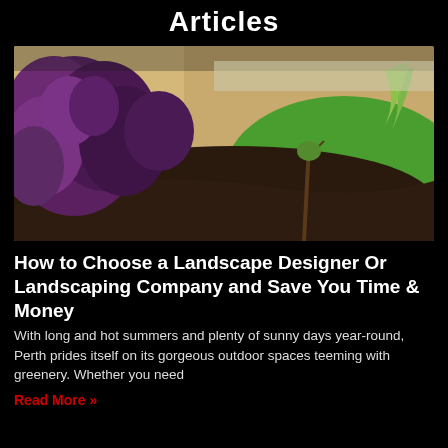Articles
[Figure (photo): Garden bed with dark soil mulch and purple-leafed plants along a wall, with a small tree sapling and bright green lawn in the background]
How to Choose a Landscape Designer Or Landscaping Company and Save You Time & Money
With long and hot summers and plenty of sunny days year-round, Perth prides itself on its gorgeous outdoor spaces teeming with greenery. Whether you need
Read More »